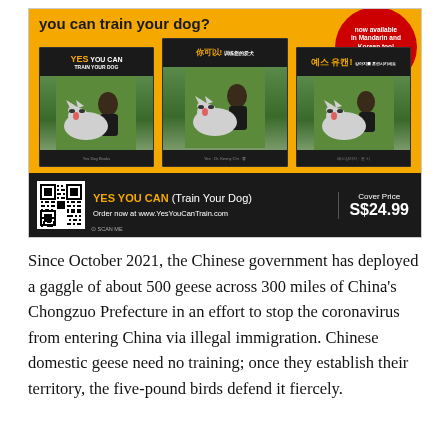[Figure (illustration): Advertisement for 'YES YOU CAN (Train Your Dog)' book available in English, Mandarin and Korean. Shows three book covers each featuring a man with a husky dog on a yellow background. Bottom black bar has QR code, book title in yellow, website URL, and price S$24.99.]
Since October 2021, the Chinese government has deployed a gaggle of about 500 geese across 300 miles of China's Chongzuo Prefecture in an effort to stop the coronavirus from entering China via illegal immigration. Chinese domestic geese need no training; once they establish their territory, the five-pound birds defend it fiercely.